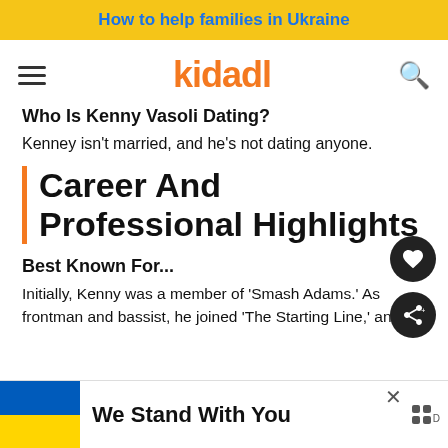How to help families in Ukraine
[Figure (logo): Kidadl logo with hamburger menu and search icon]
Who Is Kenny Vasoli Dating?
Kenney isn't married, and he's not dating anyone.
Career And Professional Highlights
Best Known For...
Initially, Kenny was a member of 'Smash Adams.' As frontman and bassist, he joined 'The Starting Line,' an Am... began tra... today.
[Figure (infographic): We Stand With You - Ukraine support ad banner with blue and yellow flag]